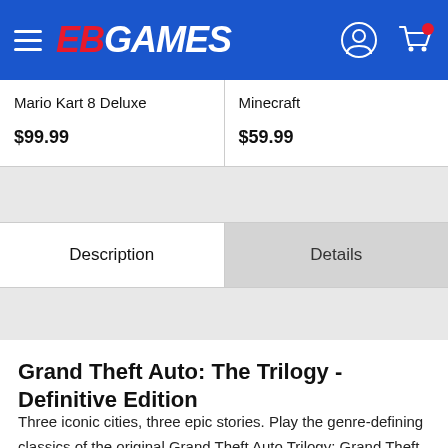EB Games navigation header with hamburger menu, EB Games logo, user account icon, and cart icon
| Mario Kart 8 Deluxe | Minecraft |
| $99.99 | $59.99 |
Description | Details
Grand Theft Auto: The Trilogy - Definitive Edition
Three iconic cities, three epic stories. Play the genre-defining classics of the original Grand Theft Auto Trilogy: Grand Theft Auto III, Grand Theft Auto: Vice City and Grand Theft Auto: San Andreas updated for a new generation, now with across-the-board enhancements including brilliant new lighting and